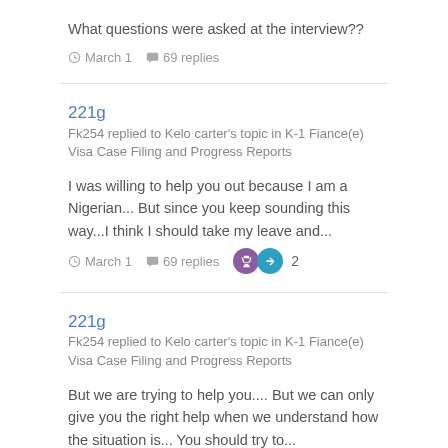What questions were asked at the interview??
March 1   69 replies
221g
Fk254 replied to Kelo carter's topic in K-1 Fiance(e) Visa Case Filing and Progress Reports
I was willing to help you out because I am a Nigerian... But since you keep sounding this way...I think I should take my leave and...
March 1   69 replies   2
221g
Fk254 replied to Kelo carter's topic in K-1 Fiance(e) Visa Case Filing and Progress Reports
But we are trying to help you.... But we can only give you the right help when we understand how the situation is... You should try to...
March 1   69 replies